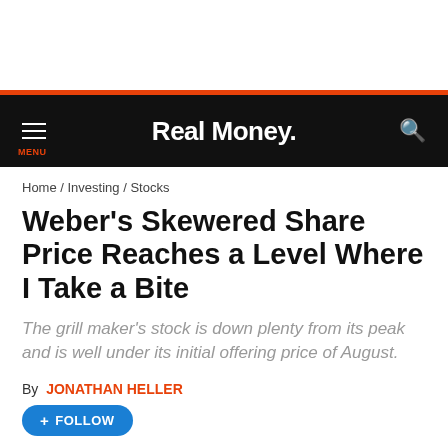Real Money.
Home / Investing / Stocks
Weber's Skewered Share Price Reaches a Level Where I Take a Bite
The grill maker's stock is down plenty from its peak and is well under its initial offering price of August.
By JONATHAN HELLER
+ FOLLOW
Dec 15, 2021 | 09:30 AM EST